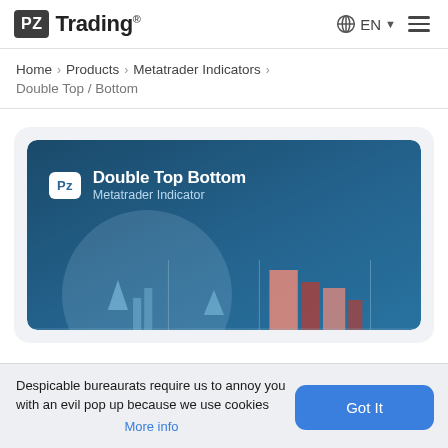PZ Trading® EN ☰
Home › Products › Metatrader Indicators › Double Top / Bottom
[Figure (illustration): PZ Double Top Bottom Metatrader Indicator product card with dark blue background, PZ logo, bold white title 'Double Top Bottom Metatrader Indicator', and a chart graphic showing colored bars at the bottom]
Despicable bureaurats require us to annoy you with an evil pop up because we use cookies More info
Got It